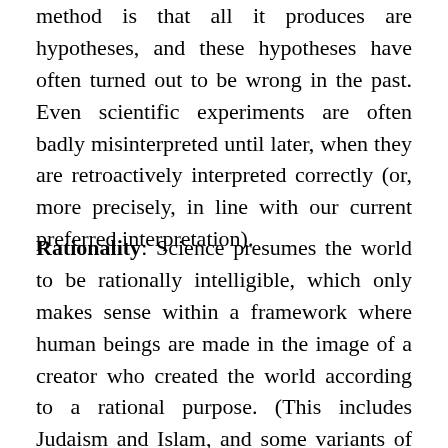method is that all it produces are hypotheses, and these hypotheses have often turned out to be wrong in the past. Even scientific experiments are often badly misinterpreted until later, when they are retroactively interpreted correctly (or, more precisely, in line with our current preferred interpretation).
Rationality: Science presumes the world to be rationally intelligible, which only makes sense within a framework where human beings are made in the image of a creator who created the world according to a rational purpose. (This includes Judaism and Islam, and some variants of philosophical theism, e.g. Platonism or Aristotelianism).